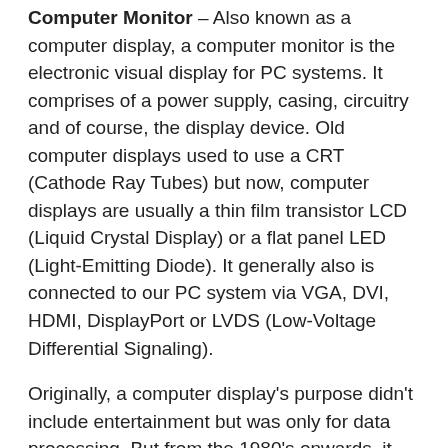Computer Monitor – Also known as a computer display, a computer monitor is the electronic visual display for PC systems. It comprises of a power supply, casing, circuitry and of course, the display device. Old computer displays used to use a CRT (Cathode Ray Tubes) but now, computer displays are usually a thin film transistor LCD (Liquid Crystal Display) or a flat panel LED (Light-Emitting Diode). It generally also is connected to our PC system via VGA, DVI, HDMI, DisplayPort or LVDS (Low-Voltage Differential Signaling).
Originally, a computer display's purpose didn't include entertainment but was only for data processing. But from the 1980's onwards, it has been used for both data processing and entertainment purposes. There are a few common aspect ratios or geometric shape of a computer display, and these are 4:3, 16:10, and 16:9. A